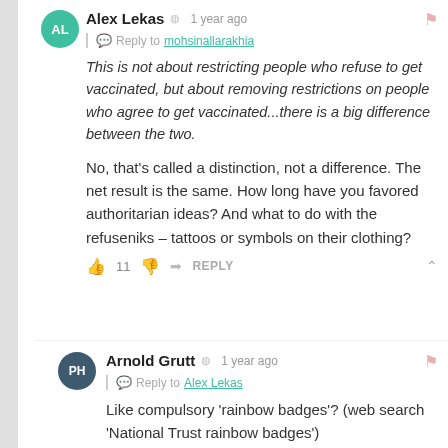Alex Lekas  1 year ago
Reply to mohsinallarakhia
This is not about restricting people who refuse to get vaccinated, but about removing restrictions on people who agree to get vaccinated...there is a big difference between the two.
No, that's called a distinction, not a difference. The net result is the same. How long have you favored authoritarian ideas? And what to do with the refuseniks – tattoos or symbols on their clothing?
11  REPLY
Arnold Grutt  1 year ago
Reply to Alex Lekas
Like compulsory 'rainbow badges'? (web search 'National Trust rainbow badges')